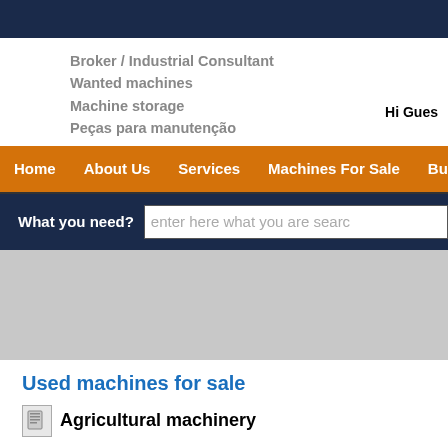Broker / Industrial Consultant
Wanted machines
Machine storage
Peças para manutenção
Hi Gues
Home  About Us  Services  Machines For Sale  Busine
What you need?  enter here what you are searc
Used machines for sale
Agricultural machinery